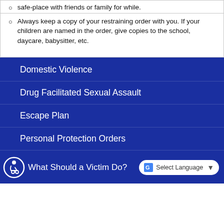safe-place with friends or family for while.
Always keep a copy of your restraining order with you. If your children are named in the order, give copies to the school, daycare, babysitter, etc.
Domestic Violence
Drug Facilitated Sexual Assault
Escape Plan
Personal Protection Orders
What Should a Victim Do?